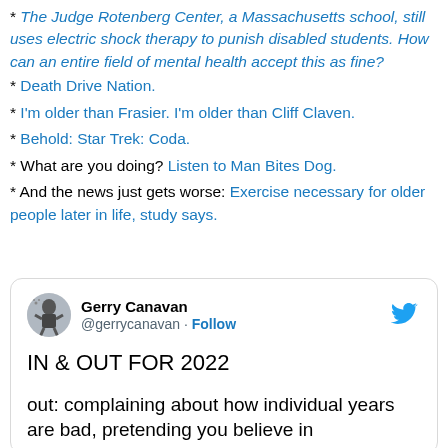* The Judge Rotenberg Center, a Massachusetts school, still uses electric shock therapy to punish disabled students. How can an entire field of mental health accept this as fine?
* Death Drive Nation.
* I'm older than Frasier. I'm older than Cliff Claven.
* Behold: Star Trek: Coda.
* What are you doing? Listen to Man Bites Dog.
* And the news just gets worse: Exercise necessary for older people later in life, study says.
[Figure (screenshot): Embedded tweet from @gerrycanavan showing 'IN & OUT FOR 2022' with text 'out: complaining about how individual years are bad, pretending you believe in']